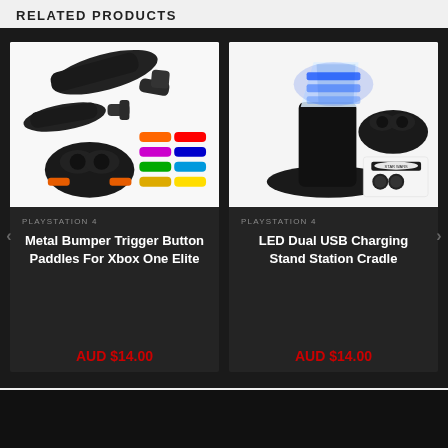RELATED PRODUCTS
[Figure (photo): Black metal bumper trigger button paddles for Xbox One Elite controller, shown with colorful replacement paddle rings in orange, red, purple, green, blue, yellow colors]
PLAYSTATION 4
Metal Bumper Trigger Button Paddles For Xbox One Elite
AUD $14.00
[Figure (photo): LED Dual USB Charging Stand Station Cradle with blue LED lights, shown with a PS4 controller docked, and Star Wars branded thumb grips accessories]
PLAYSTATION 4
LED Dual USB Charging Stand Station Cradle
AUD $14.00